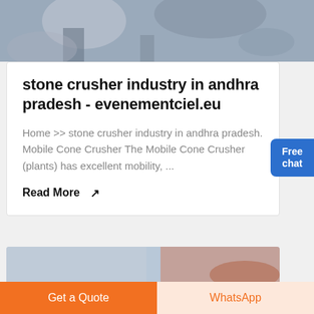[Figure (photo): Top portion of a stone crusher / mining site image showing rocks and machinery in blue-grey tones]
stone crusher industry in andhra pradesh - evenementciel.eu
Home >> stone crusher industry in andhra pradesh. Mobile Cone Crusher The Mobile Cone Crusher (plants) has excellent mobility, ...
Read More →
[Figure (photo): Partial image of a stone crusher site, blue sky and orange/brown rocks visible]
Get a Quote
WhatsApp